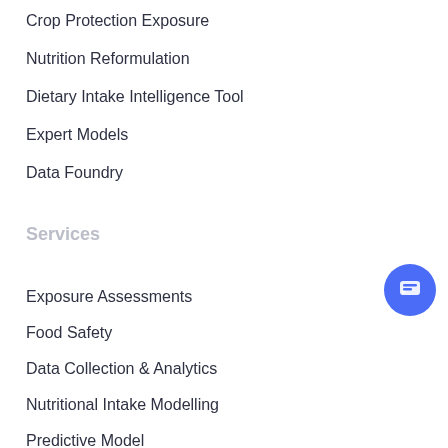Crop Protection Exposure
Nutrition Reformulation
Dietary Intake Intelligence Tool
Expert Models
Data Foundry
Services
Exposure Assessments
Food Safety
Data Collection & Analytics
Nutritional Intake Modelling
Predictive Model Development
[Figure (other): Chat widget popup with arrow icon, message 'Got any questions? I'm happy to help.' and close button, plus a blue circular chat button at bottom right]